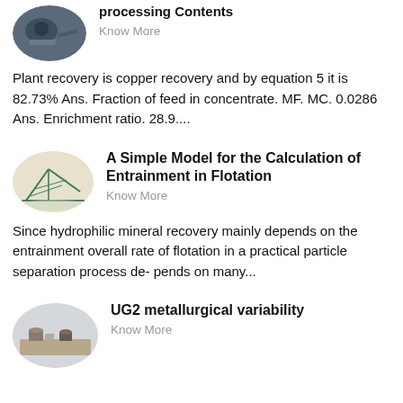[Figure (photo): Oval thumbnail photo of mineral processing equipment]
processing Contents
Know More
Plant recovery is copper recovery and by equation 5 it is 82.73% Ans. Fraction of feed in concentrate. MF. MC. 0.0286 Ans. Enrichment ratio. 28.9....
[Figure (photo): Oval thumbnail photo of flotation equipment or bridge structure in teal/green]
A Simple Model for the Calculation of Entrainment in Flotation
Know More
Since hydrophilic mineral recovery mainly depends on the entrainment overall rate of flotation in a practical particle separation process de- pends on many...
[Figure (photo): Oval thumbnail photo of metallurgical lab equipment on a table]
UG2 metallurgical variability
Know More